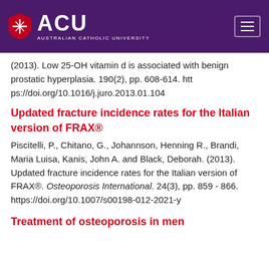ACU - Australian Catholic University
(2013). Low 25-OH vitamin d is associated with benign prostatic hyperplasia. 190(2), pp. 608-614. https://doi.org/10.1016/j.juro.2013.01.104
Updated fracture incidence rates for the Italian version of FRAX®
Piscitelli, P., Chitano, G., Johannson, Henning R., Brandi, Maria Luisa, Kanis, John A. and Black, Deborah. (2013). Updated fracture incidence rates for the Italian version of FRAX®. Osteoporosis International. 24(3), pp. 859 - 866. https://doi.org/10.1007/s00198-012-2021-y
Treatment of osteoporosis in men